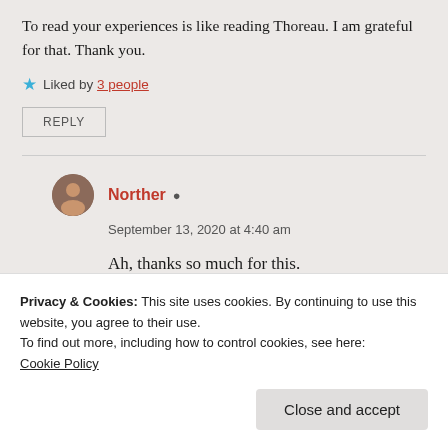To read your experiences is like reading Thoreau. I am grateful for that. Thank you.
Liked by 3 people
REPLY
Norther
September 13, 2020 at 4:40 am
Ah, thanks so much for this.
Privacy & Cookies: This site uses cookies. By continuing to use this website, you agree to their use.
To find out more, including how to control cookies, see here: Cookie Policy
Close and accept